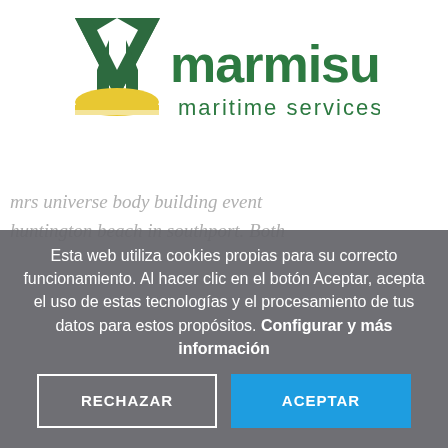[Figure (logo): Marmisur Maritime Services logo with green M-shaped icon and yellow wave at bottom, green text 'marmisur' and 'maritime services']
mrs universe body building event huntington beach in southport. Both
Esta web utiliza cookies propias para su correcto funcionamiento. Al hacer clic en el botón Aceptar, acepta el uso de estas tecnologías y el procesamiento de tus datos para estos propósitos. Configurar y más información
RECHAZAR
ACEPTAR